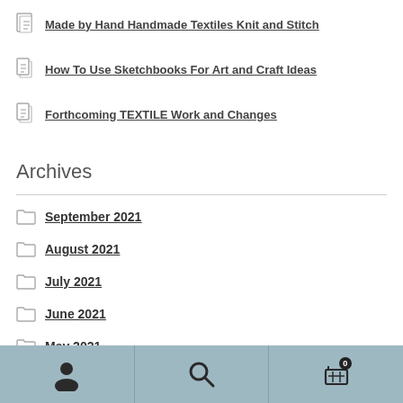Made by Hand Handmade Textiles Knit and Stitch
How To Use Sketchbooks For Art and Craft Ideas
Forthcoming TEXTILE Work and Changes
Archives
September 2021
August 2021
July 2021
June 2021
May 2021